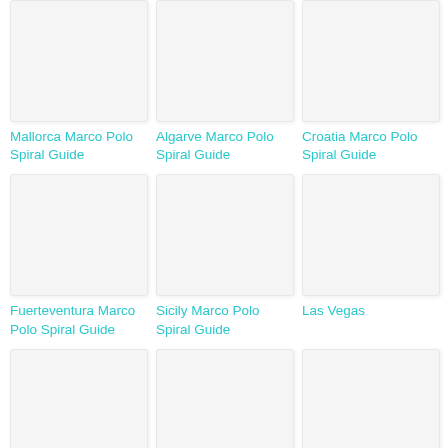[Figure (photo): Mallorca Marco Polo Spiral Guide book cover image placeholder]
Mallorca Marco Polo Spiral Guide
[Figure (photo): Algarve Marco Polo Spiral Guide book cover image placeholder]
Algarve Marco Polo Spiral Guide
[Figure (photo): Croatia Marco Polo Spiral Guide book cover image placeholder]
Croatia Marco Polo Spiral Guide
[Figure (photo): Fuerteventura Marco Polo Spiral Guide book cover image placeholder]
Fuerteventura Marco Polo Spiral Guide
[Figure (photo): Sicily Marco Polo Spiral Guide book cover image placeholder]
Sicily Marco Polo Spiral Guide
[Figure (photo): Las Vegas book cover image placeholder]
Las Vegas
[Figure (photo): Book cover image placeholder row 3 left]
[Figure (photo): Book cover image placeholder row 3 center]
[Figure (photo): Book cover image placeholder row 3 right]